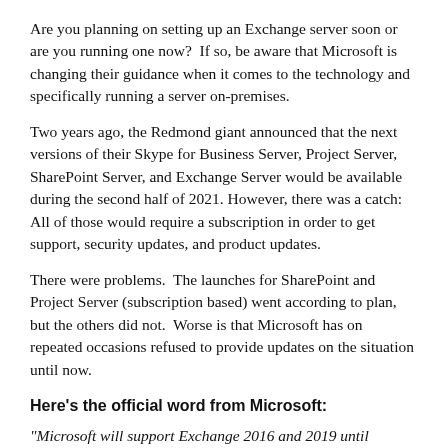Are you planning on setting up an Exchange server soon or are you running one now?  If so, be aware that Microsoft is changing their guidance when it comes to the technology and specifically running a server on-premises.
Two years ago, the Redmond giant announced that the next versions of their Skype for Business Server, Project Server, SharePoint Server, and Exchange Server would be available during the second half of 2021. However, there was a catch: All of those would require a subscription in order to get support, security updates, and product updates.
There were problems.  The launches for SharePoint and Project Server (subscription based) went according to plan, but the others did not.  Worse is that Microsoft has on repeated occasions refused to provide updates on the situation until now.
Here's the official word from Microsoft:
"Microsoft will support Exchange 2016 and 2019 until October 14, 2025. And after October 14, 2025, only the next version of Exchange Server will be supported."